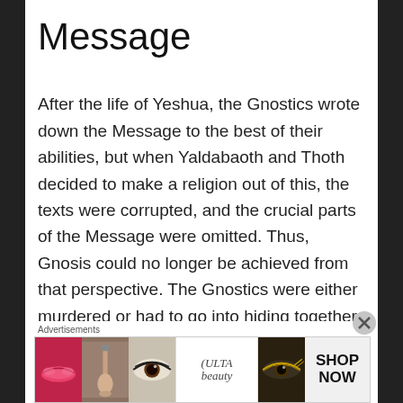Message
After the life of Yeshua, the Gnostics wrote down the Message to the best of their abilities, but when Yaldabaoth and Thoth decided to make a religion out of this, the texts were corrupted, and the crucial parts of the Message were omitted. Thus, Gnosis could no longer be achieved from that perspective. The Gnostics were either murdered or had to go into hiding together with most of their written notes. What remains is the Christian religion; what was included in the Bible. Although much of that is still profound, it's not
Advertisements
[Figure (other): Advertisement banner for ULTA beauty showing cosmetic images with 'SHOP NOW' call to action]